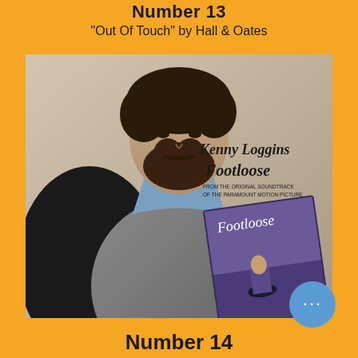Number 13
"Out Of Touch" by Hall & Oates
[Figure (photo): Album promotional photo for Kenny Loggins 'Footloose' - shows Kenny Loggins (bearded man in grey vest and blue shirt) holding the Footloose soundtrack album cover. Text on image reads 'Kenny Loggins Footloose FROM THE ORIGINAL SOUNDTRACK OF THE PARAMOUNT MOTION PICTURE']
Number 14